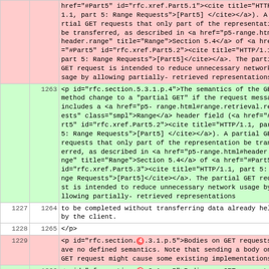| old | new | code |
| --- | --- | --- |
|  |  | href="#Part5" id="rfc.xref.Part5.1"><cite title="HTTP/1.1, part 5: Range Requests">[Part5]</cite></a>). A partial GET requests that only part of the representation be transferred, as described in <a href="p5-range.html#header.range" title="Range">Section 5.4</a> of <a href="#Part5" id="rfc.xref.Part5.2"><cite title="HTTP/1.1, part 5: Range Requests">[Part5]</cite></a>. The partial GET request is intended to reduce unnecessary network usage by allowing partially-retrieved representations |
|  | 1263 | <p id="rfc.section.5.3.1.p.4">The semantics of the GET method change to a "partial GET" if the request message includes a <a href="p5-range.html#range.retrieval.requests" class="smpl">Range</a> header field (<a href="#Part5" id="rfc.xref.Part5.2"><cite title="HTTP/1.1, part 5: Range Requests">[Part5]</cite></a>). A partial GET requests that only part of the representation be transferred, as described in <a href="p5-range.html#header.range" title="Range">Section 5.4</a> of <a href="#Part5" id="rfc.xref.Part5.3"><cite title="HTTP/1.1, part 5: Range Requests">[Part5]</cite></a>. The partial GET request is intended to reduce unnecessary network usage by allowing partially-retrieved representations |
| 1227 | 1264 |         to be completed without transferring data already held by the client. |
| 1228 | 1265 |       </p> |
| 1229 |  | <p id="rfc.section.4.3.1.p.5">Bodies on GET requests have no defined semantics. Note that sending a body on a GET request might cause some existing implementations |
|  | 1266 | <p id="rfc.section.5.3.1.p.5">Bodies on GET requests have no defined semantics. Note that sending a body on a GET request might cause some |